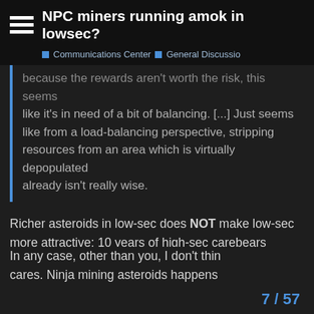NPC miners running amok in lowsec?
Communications Center  General Discussio
because the rewards aren't worth the risk, this seems like it's in need of a bit of balancing. [...] Just seems like from a load-balancing perspective, stripping resources from an area which is virtually depopulated already isn't really wise.
Richer asteroids in low-sec does NOT make low-sec more attractive; 10 years of high-sec carebears refusing to go there pretty much proves this.
So, CCP introduced this new NPC-mining system, and they didn't foresee all the repercussions. They always do this, by the way, it's typical CCP coding quality, what you can expect, at this point.
In any case, other than you, I don't thin
cares. Ninja mining asteroids happens
7 / 57